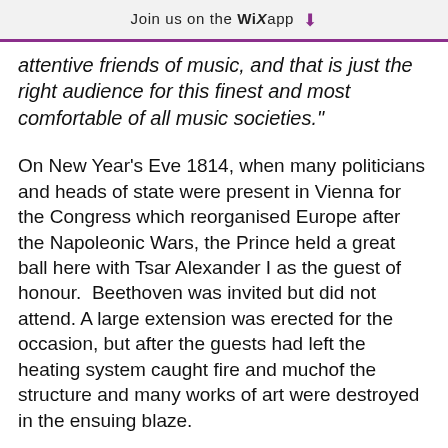Join us on the WiX app ⬇
attentive friends of music, and that is just the right audience for this finest and most comfortable of all music societies."
On New Year's Eve 1814, when many politicians and heads of state were present in Vienna for the Congress which reorganised Europe after the Napoleonic Wars, the Prince held a great ball here with Tsar Alexander I as the guest of honour.  Beethoven was invited but did not attend. A large extension was erected for the occasion, but after the guests had left the heating system caught fire and muchof the structure and many works of art were destroyed in the ensuing blaze.